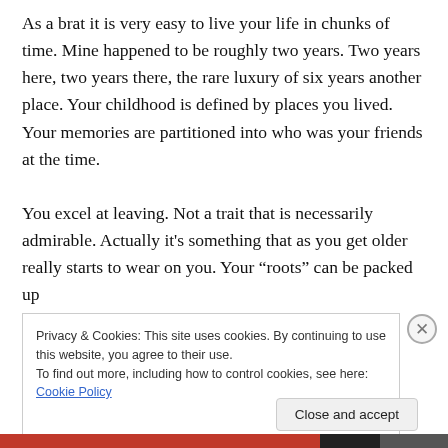As a brat it is very easy to live your life in chunks of time. Mine happened to be roughly two years. Two years here, two years there, the rare luxury of six years another place. Your childhood is defined by places you lived. Your memories are partitioned into who was your friends at the time.

You excel at leaving. Not a trait that is necessarily admirable. Actually it's something that as you get older really starts to wear on you. Your “roots” can be packed up
Privacy & Cookies: This site uses cookies. By continuing to use this website, you agree to their use.
To find out more, including how to control cookies, see here: Cookie Policy
Close and accept